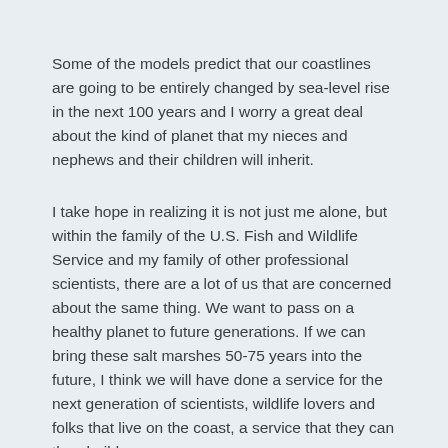Some of the models predict that our coastlines are going to be entirely changed by sea-level rise in the next 100 years and I worry a great deal about the kind of planet that my nieces and nephews and their children will inherit.
I take hope in realizing it is not just me alone, but within the family of the U.S. Fish and Wildlife Service and my family of other professional scientists, there are a lot of us that are concerned about the same thing. We want to pass on a healthy planet to future generations. If we can bring these salt marshes 50-75 years into the future, I think we will have done a service for the next generation of scientists, wildlife lovers and folks that live on the coast, a service that they can then build on.
Reprinted from Fish and Wildlife News, Fall 2016, p. 18-19